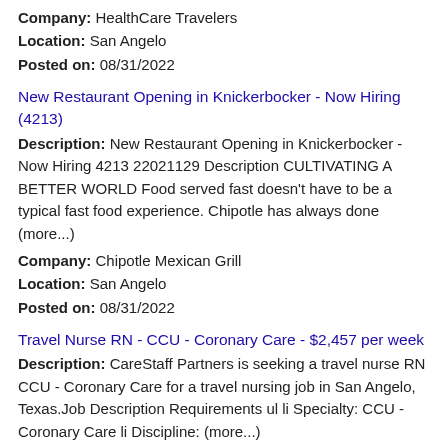Company: HealthCare Travelers
Location: San Angelo
Posted on: 08/31/2022
New Restaurant Opening in Knickerbocker - Now Hiring (4213)
Description: New Restaurant Opening in Knickerbocker - Now Hiring 4213 22021129 Description CULTIVATING A BETTER WORLD Food served fast doesn't have to be a typical fast food experience. Chipotle has always done (more...)
Company: Chipotle Mexican Grill
Location: San Angelo
Posted on: 08/31/2022
Travel Nurse RN - CCU - Coronary Care - $2,457 per week
Description: CareStaff Partners is seeking a travel nurse RN CCU - Coronary Care for a travel nursing job in San Angelo, Texas.Job Description Requirements ul li Specialty: CCU - Coronary Care li Discipline: (more...)
Company: CareStaff Partners
Location: San Angelo
Posted on: 08/31/2022
Salary in San Angelo, Texas Area | More details for San